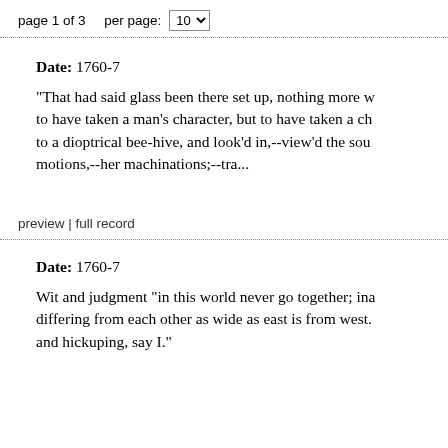page 1 of 3    per page: 10
Date: 1760-7
"That had said glass been there set up, nothing more w... to have taken a man's character, but to have taken a ch... to a dioptrical bee-hive, and look'd in,--view'd the sou... motions,--her machinations;--tra...
preview | full record
Date: 1760-7
Wit and judgment "in this world never go together; ina... differing from each other as wide as east is from west... and hickuping, say I."